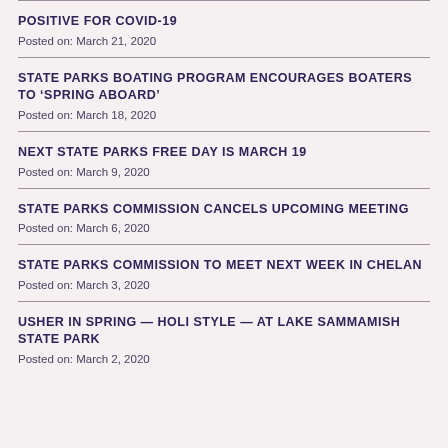POSITIVE FOR COVID-19
Posted on: March 21, 2020
STATE PARKS BOATING PROGRAM ENCOURAGES BOATERS TO ‘SPRING ABOARD’
Posted on: March 18, 2020
NEXT STATE PARKS FREE DAY IS MARCH 19
Posted on: March 9, 2020
STATE PARKS COMMISSION CANCELS UPCOMING MEETING
Posted on: March 6, 2020
STATE PARKS COMMISSION TO MEET NEXT WEEK IN CHELAN
Posted on: March 3, 2020
USHER IN SPRING — HOLI STYLE — AT LAKE SAMMAMISH STATE PARK
Posted on: March 2, 2020